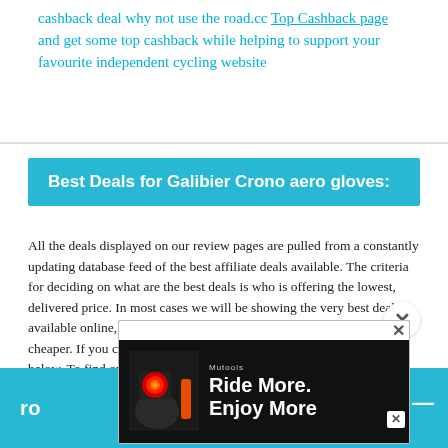cashback deal why not use the road.cc Top Cashback page and get some top cashback while helping to support your favourite independent cycling website
Best Deals for Galibier Crono aero gloves:
All the deals displayed on our review pages are pulled from a constantly updating database feed of the best affiliate deals available. The criteria for deciding on what are the best deals is who is offering the lowest, delivered price. In most cases we will be showing the very best deal available online, but sometimes you may be able to find an item cheaper. If you can please feel free to post a link in the comments box below. To find out more about affiliate links on road.cc click here.
[Figure (screenshot): Advertisement overlay showing 'Ride More. Enjoy More' with a cycling light image]